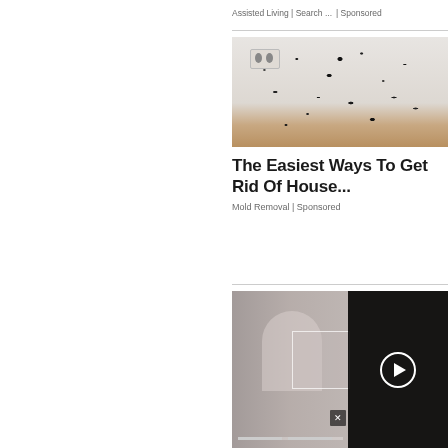Assisted Living | Search ... | Sponsored
[Figure (photo): Room corner with white walls covered in black mold spots, a double electrical outlet on the wall, and wood baseboard flooring visible at bottom]
The Easiest Ways To Get Rid Of House...
Mold Removal | Sponsored
[Figure (screenshot): A blurred/ghosted video thumbnail showing a person with blonde hair in a grayish room, with a face detection box overlay, video progress bar, close button (x), and a black panel on the right side with a circular play button]